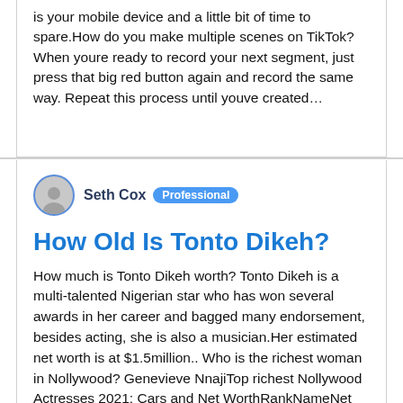is your mobile device and a little bit of time to spare.How do you make multiple scenes on TikTok?When youre ready to record your next segment, just press that big red button again and record the same way. Repeat this process until youve created…
Seth Cox  Professional
How Old Is Tonto Dikeh?
How much is Tonto Dikeh worth? Tonto Dikeh is a multi-talented Nigerian star who has won several awards in her career and bagged many endorsement, besides acting, she is also a musician.Her estimated net worth is at $1.5million.. Who is the richest woman in Nollywood? Genevieve NnajiTop richest Nollywood Actresses 2021; Cars and Net WorthRankNameNet worth in